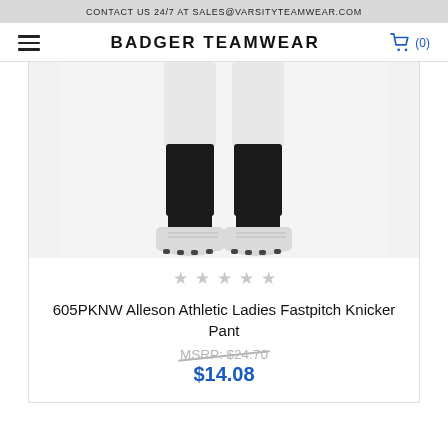CONTACT US 24/7 AT SALES@VARSITYTEAMWEAR.COM
BADGER TEAMWEAR
[Figure (photo): Legs of a person wearing white fastpitch knicker pants, black knee-high socks, and white cleats with black soles, shown from mid-thigh down against a white background.]
★ ★ ★ ★ ★
605PKNW Alleson Athletic Ladies Fastpitch Knicker Pant
MSRP: $24.70
$14.08